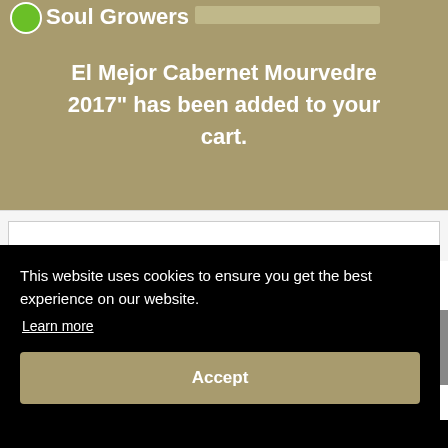Soul Growers El Mejor Cabernet Mourvedre 2017" has been added to your cart.
This website uses cookies to ensure you get the best experience on our website. Learn more
Accept